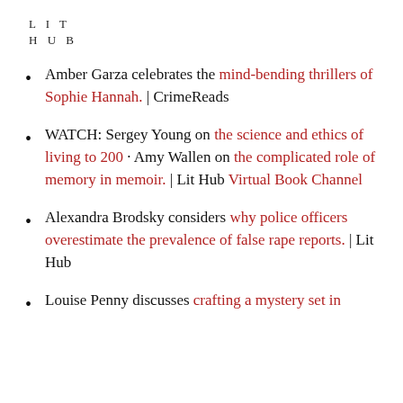LIT HUB
Amber Garza celebrates the mind-bending thrillers of Sophie Hannah. | CrimeReads
WATCH: Sergey Young on the science and ethics of living to 200 · Amy Wallen on the complicated role of memory in memoir. | Lit Hub Virtual Book Channel
Alexandra Brodsky considers why police officers overestimate the prevalence of false rape reports. | Lit Hub
Louise Penny discusses crafting a mystery set in